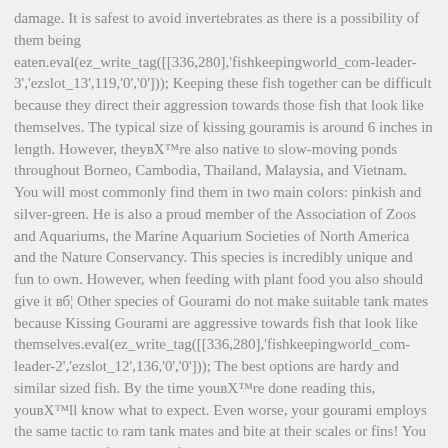damage. It is safest to avoid invertebrates as there is a possibility of them being eaten.eval(ez_write_tag([[336,280],'fishkeepingworld_com-leader-3','ezslot_13',119,'0','0'])); Keeping these fish together can be difficult because they direct their aggression towards those fish that look like themselves. The typical size of kissing gouramis is around 6 inches in length. However, they're also native to slow-moving ponds throughout Borneo, Cambodia, Thailand, Malaysia, and Vietnam. You will most commonly find them in two main colors: pinkish and silver-green. He is also a proud member of the Association of Zoos and Aquariums, the Marine Aquarium Societies of North America and the Nature Conservancy. This species is incredibly unique and fun to own. However, when feeding with plant food you also should give it в… Other species of Gourami do not make suitable tank mates because Kissing Gourami are aggressive towards fish that look like themselves.eval(ez_write_tag([[336,280],'fishkeepingworld_com-leader-2','ezslot_12',136,'0','0'])); The best options are hardy and similar sized fish. By the time you're done reading this, you'll know what to expect. Even worse, your gourami employs the same tactic to ram tank mates and bite at their scales or fins! You can reduce the frequency of the tests once water parameter consistency has been established. Kissing gourami care is all about managing their feisty